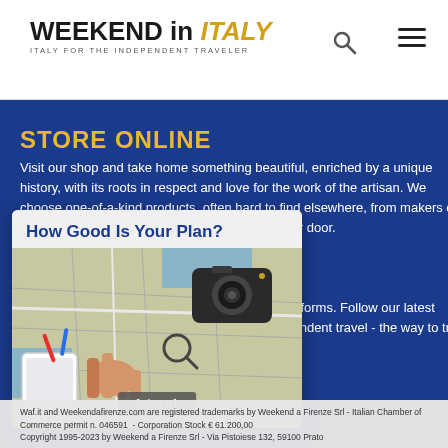WEEKEND in ITALY — ITALY FOR THE INDEPENDENT TRAVELER
STORE ONLINE
Visit our shop and take home something beautiful, enriched by a unique history, with its roots in respect and love for the work of the artisan. We choose one-of-a-kind products, often hard to find elsewhere, from makers our families know and trust. Directly from Italy to your door.
SOCIAL
Keep up-to-date with us via our social media platforms. Follow our latest news and adventures, share our vision of independent travel - the way to truly care for special places.
[Figure (screenshot): Popup card overlay with title 'How Good Is Your Plan?' and a photo of a person's hand pointing at a travel map with a camera on it, with a close button at bottom.]
Waf.it and Weekendafirenze.com are registered trademarks by Weekend a Firenze Srl - Italian Chamber of Commerce permit n. 046591 - Corporation Stock € 61.200,00 - Copyright 1995-2023 by Weekend a Firenze Srl - Via Pistoiese 132, 59100 Prato